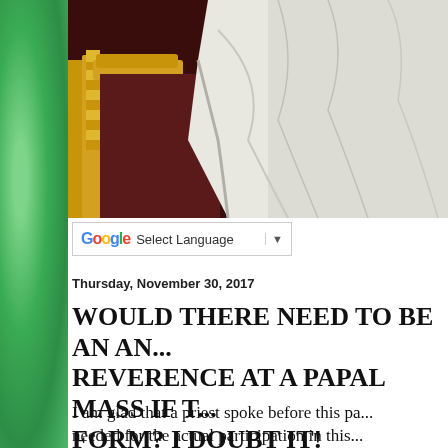[Figure (photo): Close-up photo of papal white robes/vestments with a gold ornate chair visible, dark red/maroon background]
[Figure (screenshot): Google Translate widget showing 'Select Language' with dropdown arrow]
Thursday, November 30, 2017
WOULD THERE NEED TO BE AN AN... REVERENCE AT A PAPAL MASS IF T... FORM? I DOUBT IT!
I am glad that a priest spoke before this pa... needed for the actual participation in this...